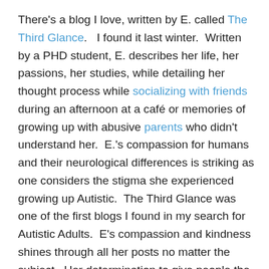There's a blog I love, written by E. called The Third Glance.   I found it last winter.  Written by a PHD student, E. describes her life, her passions, her studies, while detailing her thought process while socializing with friends during an afternoon at a café or memories of growing up with abusive parents who didn't understand her.  E.'s compassion for humans and their neurological differences is striking as one considers the stigma she experienced growing up Autistic.  The Third Glance was one of the first blogs I found in my search for Autistic Adults.  E's compassion and kindness shines through all her posts no matter the subject.  Her determination to give people the benefit of the doubt was something I was astonished by, particularly during those first few months of my discovering Autistic blogs and reading that so much of what I'd done was not as altruistic as I'd believed.